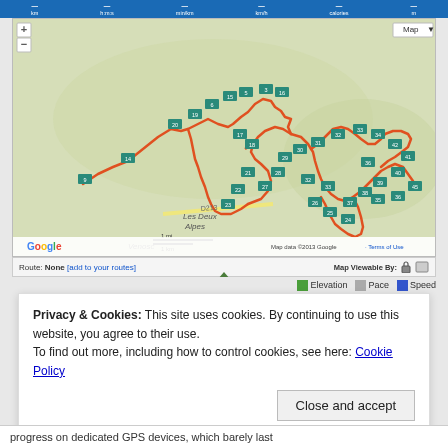[Figure (map): Google Map showing a running/cycling GPS route near Les Deux Alpes, France. The route is shown as a red/orange path with numbered waypoint markers. Map includes zoom controls (+/-), a Map/Satellite toggle button, Google logo, scale bar, and copyright notice. Route markers range from approximately km 1 to km 45.]
Route: None [add to your routes]     Map Viewable By: [lock icon] [share icon]
[Figure (other): Legend bar showing: green swatch = Elevation, grey swatch = Pace, blue swatch = Speed. Green upward triangle arrow above.]
Privacy & Cookies: This site uses cookies. By continuing to use this website, you agree to their use.
To find out more, including how to control cookies, see here: Cookie Policy
Close and accept
progress on dedicated GPS devices, which barely last